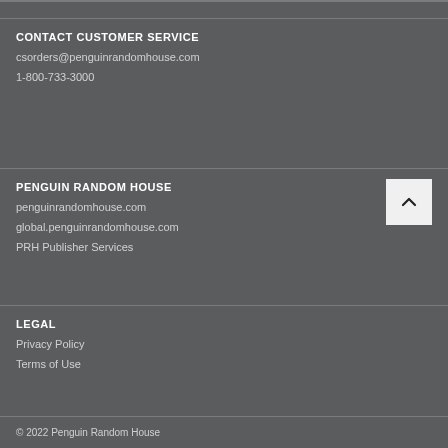CONTACT CUSTOMER SERVICE
csorders@penguinrandomhouse.com
1-800-733-3000
PENGUIN RANDOM HOUSE
penguinrandomhouse.com
global.penguinrandomhouse.com
PRH Publisher Services
LEGAL
Privacy Policy
Terms of Use
© 2022 Penguin Random House